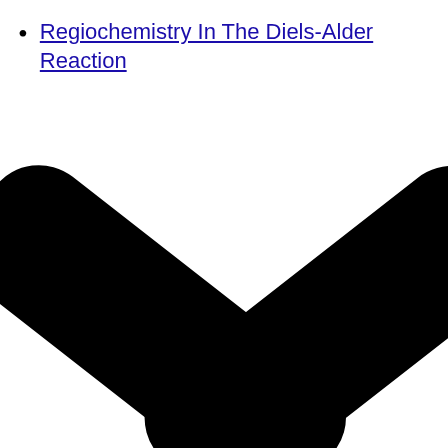Regiochemistry In The Diels-Alder Reaction
[Figure (illustration): A large black chevron/arrow shape pointing right, cropped at the bottom of the page. The shape consists of two thick rounded rectangular bars meeting at an angle to form a right-pointing chevron (greater-than symbol).]